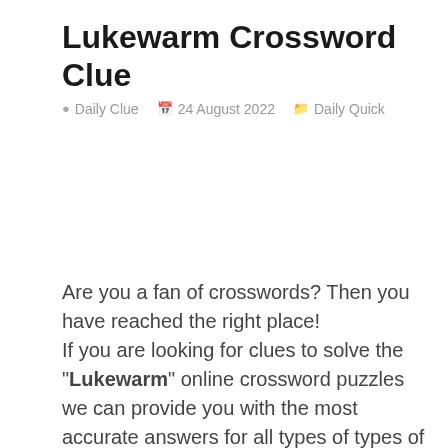Lukewarm Crossword Clue
Daily Clue   24 August 2022   Daily Quick
Are you a fan of crosswords? Then you have reached the right place!
If you are looking for clues to solve the "Lukewarm" online crossword puzzles we can provide you with the most accurate answers for all types of types of crossword puzzles
After a thorough examination of the database, we